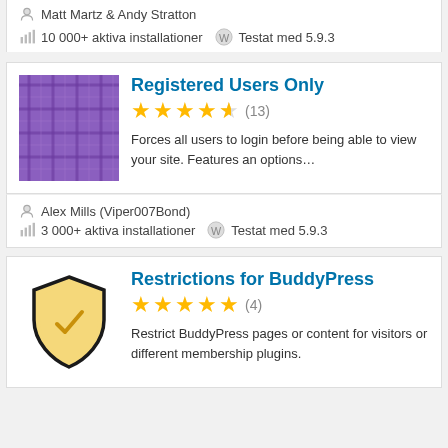Matt Martz & Andy Stratton
10 000+ aktiva installationer   Testat med 5.9.3
[Figure (illustration): Purple plaid/tartan pattern thumbnail for Registered Users Only plugin]
Registered Users Only
4.5 stars (13)
Forces all users to login before being able to view your site. Features an options...
Alex Mills (Viper007Bond)
3 000+ aktiva installationer   Testat med 5.9.3
[Figure (illustration): Yellow shield icon thumbnail for Restrictions for BuddyPress plugin]
Restrictions for BuddyPress
5 stars (4)
Restrict BuddyPress pages or content for visitors or different membership plugins.